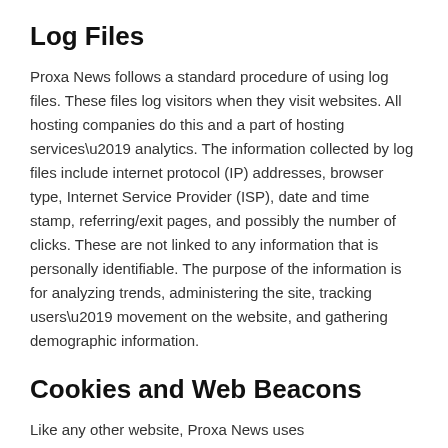Log Files
Proxa News follows a standard procedure of using log files. These files log visitors when they visit websites. All hosting companies do this and a part of hosting services' analytics. The information collected by log files include internet protocol (IP) addresses, browser type, Internet Service Provider (ISP), date and time stamp, referring/exit pages, and possibly the number of clicks. These are not linked to any information that is personally identifiable. The purpose of the information is for analyzing trends, administering the site, tracking users' movement on the website, and gathering demographic information.
Cookies and Web Beacons
Like any other website, Proxa News uses ‘cookies’. These cookies are used to store information including visitors’ preferences, and the pages on the website that the visitor accessed or visited. The information is used to optimize the